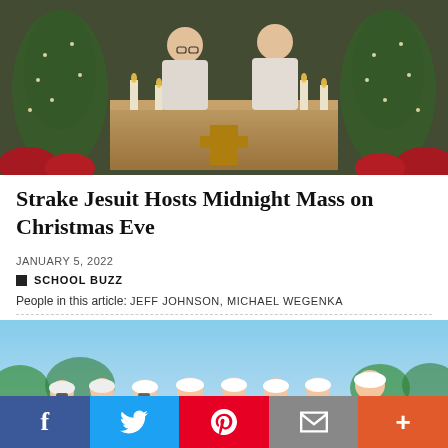[Figure (photo): Two priests in white vestments celebrating Mass at an altar decorated with Christmas trees and poinsettias]
Strake Jesuit Hosts Midnight Mass on Christmas Eve
JANUARY 5, 2022
SCHOOL BUZZ
People in this article: JEFF JOHNSON, MICHAEL WEGENKA
[Figure (photo): Group of young men in green polo shirts and white caps posing together on a golf course]
f  Twitter  Pinterest  Email  +